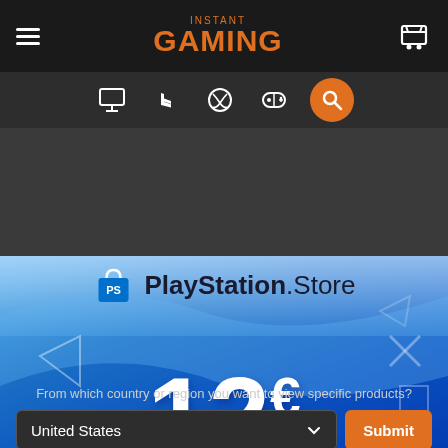[Figure (screenshot): Instant Gaming website header with logo, hamburger menu, cart icon, platform icons (PC, PlayStation, Xbox, Nintendo Switch), and orange search button]
[Figure (illustration): PlayStation Store banner showing 12 euro Guthaben-Aufstockung (credit top-up) with blue gradient background, PlayStation shapes decorations, German flag circle, and PlayStation Store logo]
From which country or region you want to view specific products?
United States
Submit